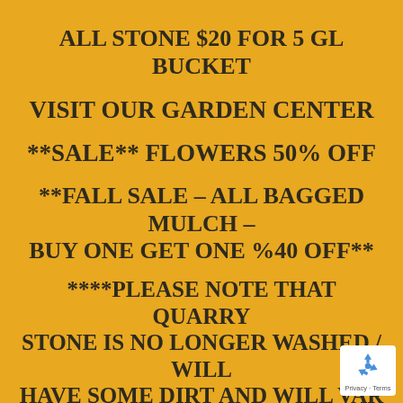ALL STONE $20 FOR 5 GL BUCKET
VISIT OUR GARDEN CENTER
**SALE** FLOWERS 50% OFF
**FALL SALE – ALL BAGGED MULCH – BUY ONE GET ONE %40 OFF**
****PLEASE NOTE THAT QUARRY STONE IS NO LONGER WASHED / WILL HAVE SOME DIRT AND WILL VAR COLOR ****
[Figure (logo): Google reCAPTCHA badge with blue recycling-style arrow icon and 'Privacy · Terms' text]